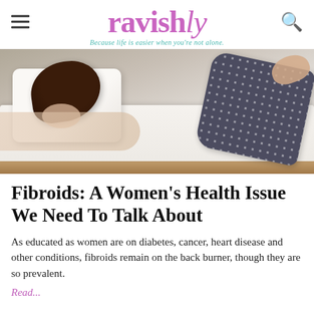ravishly — Because life is easier when you're not alone.
[Figure (photo): A woman lying face down on a bed with white bedding and a pillow, wearing dark polka-dot pajama pants. A wooden bed frame is visible at the bottom.]
Fibroids: A Women's Health Issue We Need To Talk About
As educated as women are on diabetes, cancer, heart disease and other conditions, fibroids remain on the back burner, though they are so prevalent.
Read...